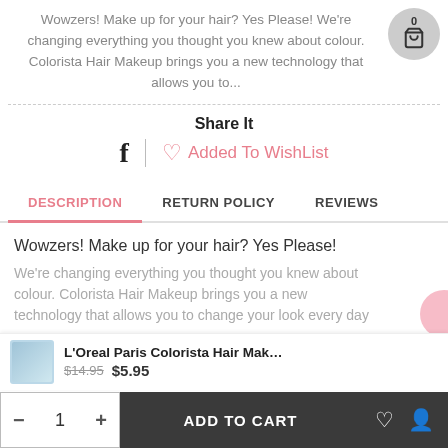Wowzers! Make up for your hair? Yes Please! We're changing everything you thought you knew about colour. Colorista Hair Makeup brings you a new technology that allows you to...
Share It
f | ♡ Added To WishList
DESCRIPTION | RETURN POLICY | REVIEWS
Wowzers! Make up for your hair? Yes Please!
We're changing everything you thought you knew about colour. Colorista Hair Makeup brings you a new technology that allows you to change your look every day
L'Oreal Paris Colorista Hair Makeup 1 Day #Meta...  $14.95  $5.95
- 1 + ADD TO CART